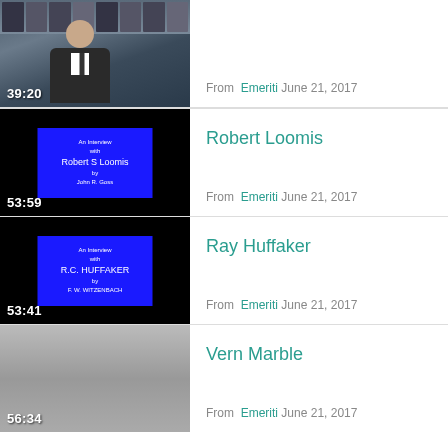[Figure (screenshot): Video thumbnail of a person in suit and tie, duration 39:20]
From Emeriti June 21, 2017
Robert Loomis
[Figure (screenshot): Blue title card: An Interview with Robert S Loomis by John R. Goss, duration 53:59]
From Emeriti June 21, 2017
Ray Huffaker
[Figure (screenshot): Blue title card: An Interview with R.C. Huffaker by F. W. Witzenbach, duration 53:41]
From Emeriti June 21, 2017
Vern Marble
[Figure (screenshot): Gray/gradient video thumbnail, duration 56:34]
From Emeriti June 21, 2017